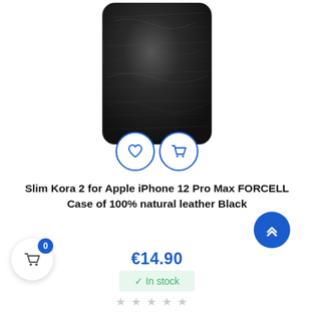[Figure (photo): Black leather phone case (Slim Kora 2) with two circular icon buttons overlaid — a heart (wishlist) and a shopping cart — shown at the bottom of the product image]
Slim Kora 2 for Apple iPhone 12 Pro Max FORCELL Case of 100% natural leather Black
€14.90
✓ In stock
★★★★★ (rating stars, empty)